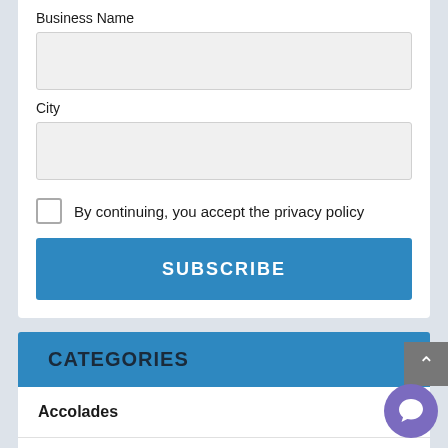Business Name
City
By continuing, you accept the privacy policy
SUBSCRIBE
CATEGORIES
Accolades
Adventure Cruises
Agents Incentives
Airfare Packages